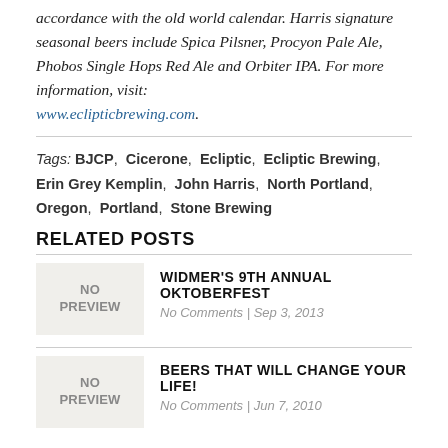accordance with the old world calendar. Harris signature seasonal beers include Spica Pilsner, Procyon Pale Ale, Phobos Single Hops Red Ale and Orbiter IPA. For more information, visit: www.eclipticbrewing.com.
Tags: BJCP, Cicerone, Ecliptic, Ecliptic Brewing, Erin Grey Kemplin, John Harris, North Portland, Oregon, Portland, Stone Brewing
RELATED POSTS
WIDMER'S 9TH ANNUAL OKTOBERFEST
No Comments | Sep 3, 2013
BEERS THAT WILL CHANGE YOUR LIFE!
No Comments | Jun 7, 2010